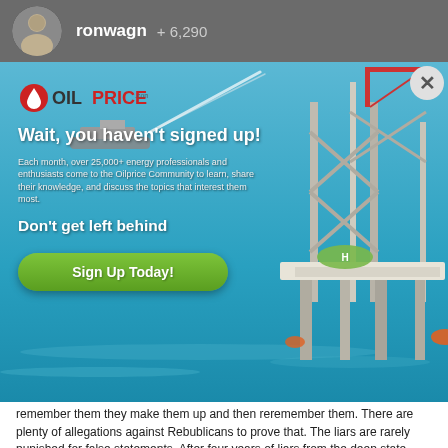ronwagn  + 6,290
[Figure (screenshot): OilPrice.com sign-up modal advertisement overlaid on a webpage. Shows an oil rig in the ocean background with the OilPrice.com logo, headline 'Wait, you haven't signed up!', body text about 25,000+ energy professionals, subheadline 'Don't get left behind', and a green 'Sign Up Today!' button. A close (X) button is in the top right corner.]
remember them they make them up and then reremember them. There are plenty of allegations against Rebublicans to prove that. The liars are rarely punished for false statements. After four years of liars from the deep state making up stories about President Trump